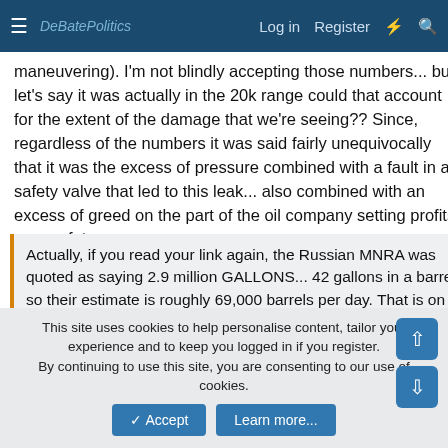DebatePolitics — Log in | Register
maneuvering). I'm not blindly accepting those numbers... but let's say it was actually in the 20k range could that account for the extent of the damage that we're seeing?? Since, regardless of the numbers it was said fairly unequivocally that it was the excess of pressure combined with a fault in a safety valve that led to this leak... also combined with an excess of greed on the part of the oil company setting profits over safety.
Actually, if you read your link again, the Russian MNRA was quoted as saying 2.9 million GALLONS... 42 gallons in a barrel, so their estimate is roughly 69,000 barrels per day. That is on the very high end of the REAL expert estimates, and although it would be one HELL of a well that BP had stumbled on, it is not impossible. 4 million barrels per day is completely, 100%, without a doubt impossible.
This site uses cookies to help personalise content, tailor your experience and to keep you logged in if you register. By continuing to use this site, you are consenting to our use of cookies.